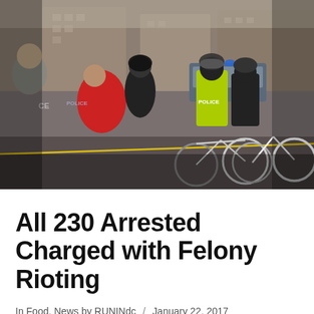[Figure (photo): Police officers in riot gear and high-visibility jackets arresting protesters on a city street. Police bicycles visible in foreground, police cars in background with lights on.]
All 230 Arrested Charged with Felony Rioting
In Food, News by RUNINdc / January 22, 2017